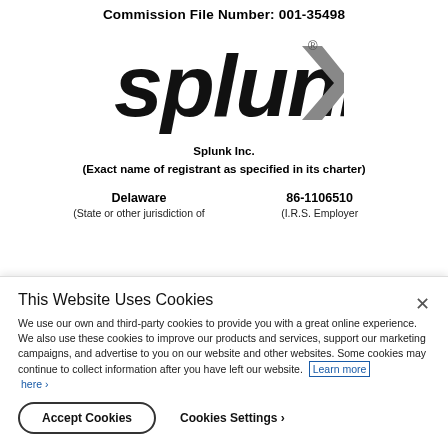Commission File Number: 001-35498
[Figure (logo): Splunk logo: black italic text 'splunk' with gray angular chevron symbol to the right, and registered trademark symbol]
Splunk Inc.
(Exact name of registrant as specified in its charter)
|  |  |
| --- | --- |
| Delaware | 86-1106510 |
| (State or other jurisdiction of | (I.R.S. Employer |
This Website Uses Cookies
We use our own and third-party cookies to provide you with a great online experience. We also use these cookies to improve our products and services, support our marketing campaigns, and advertise to you on our website and other websites. Some cookies may continue to collect information after you have left our website.  Learn more here ›
Accept Cookies   Cookies Settings ›